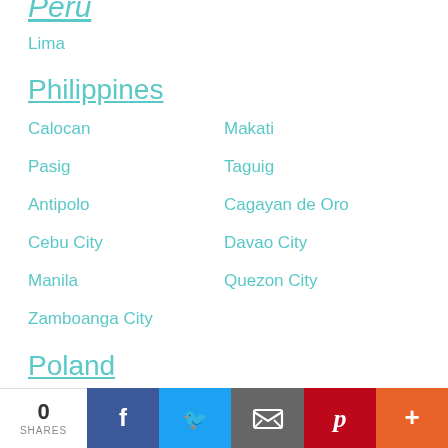Peru
Lima
Philippines
Calocan
Makati
Pasig
Taguig
Antipolo
Cagayan de Oro
Cebu City
Davao City
Manila
Quezon City
Zamboanga City
Poland
Gdańsk
Kraków
Lodz
Poznań
0 SHARES | Facebook | Twitter | Email | Pinterest | More